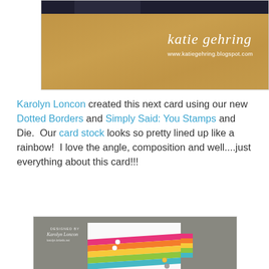[Figure (photo): Top portion of a blog photo showing a wooden surface with a dark object and Katie Gehring handwritten logo with website www.katiegehring.blogspot.com]
Karolyn Loncon created this next card using our new Dotted Borders and Simply Said: You Stamps and Die.  Our card stock looks so pretty lined up like a rainbow!  I love the angle, composition and well....just everything about this card!!!
[Figure (photo): Photo of a handmade card by Karolyn Loncon featuring diagonal rainbow-colored card stock strips (pink, orange, yellow, green, teal) on a white card, photographed at an angle on a gray wood surface. Designed by Karolyn Loncon watermark visible.]